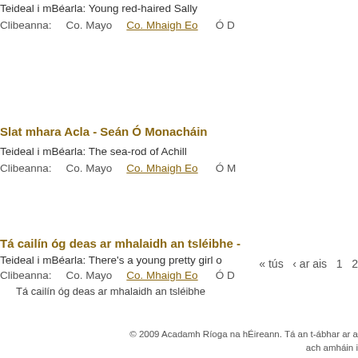Teideal i mBéarla: Young red-haired Sally
Clibeanna:   Co. Mayo   Co. Mhaigh Eo   Ó D…
Slat mhara Acla - Seán Ó Monacháin
Teideal i mBéarla: The sea-rod of Achill
Clibeanna:   Co. Mayo   Co. Mhaigh Eo   Ó M…
Tá cailín óg deas ar mhalaidh an tsléibhe -
Teideal i mBéarla: There's a young pretty girl o…
Clibeanna:   Co. Mayo   Co. Mhaigh Eo   Ó D…
Tá cailín óg deas ar mhalaidh an tsléibhe
« tús  ‹ ar ais  1  2
© 2009 Acadamh Ríoga na hÉireann. Tá an t-ábhar ar a… ach amháin i…